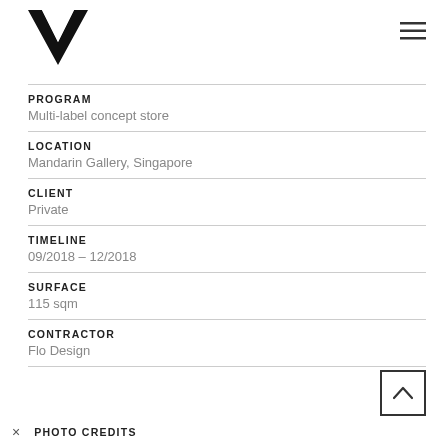[Figure (logo): Black stylized W logo]
[Figure (other): Hamburger menu icon (three horizontal lines)]
PROGRAM
Multi-label concept store
LOCATION
Mandarin Gallery, Singapore
CLIENT
Private
TIMELINE
09/2018 – 12/2018
SURFACE
115 sqm
CONTRACTOR
Flo Design
× PHOTO CREDITS